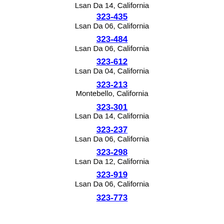Lsan Da 14, California
323-435
Lsan Da 06, California
323-484
Lsan Da 06, California
323-612
Lsan Da 04, California
323-213
Montebello, California
323-301
Lsan Da 14, California
323-237
Lsan Da 06, California
323-298
Lsan Da 12, California
323-919
Lsan Da 06, California
323-773